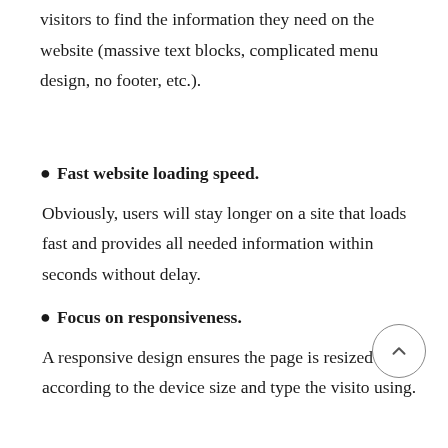visitors to find the information they need on the website (massive text blocks, complicated menu design, no footer, etc.).
Fast website loading speed. Obviously, users will stay longer on a site that loads fast and provides all needed information within seconds without delay.
Focus on responsiveness. A responsive design ensures the page is resized according to the device size and type the visitor using.